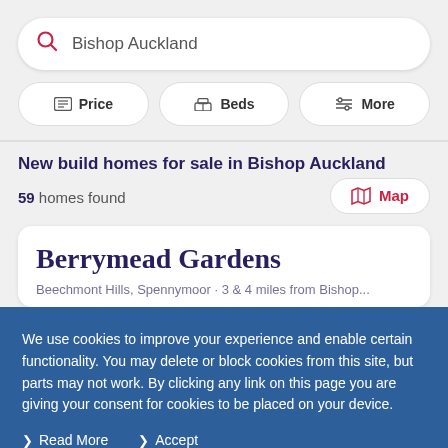Bishop Auckland
Price
Beds
More
New build homes for sale in Bishop Auckland
59 homes found
Map
Berrymead Gardens
We use cookies to improve your experience and enable certain functionality. You may delete or block cookies from this site, but parts may not work. By clicking any link on this page you are giving your consent for cookies to be placed on your device.
Read More
Accept